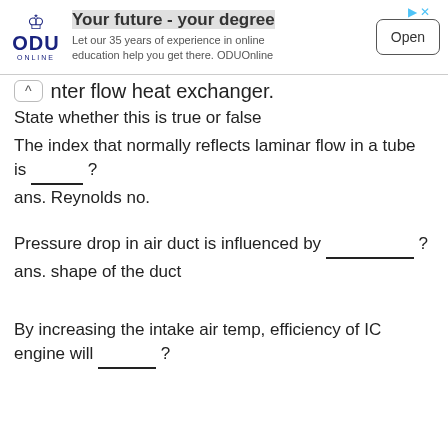[Figure (other): ODU Online advertisement banner with logo, tagline 'Your future - your degree', subtext, and Open button]
nter flow heat exchanger.
State whether this is true or false
The index that normally reflects laminar flow in a tube is ______ ?
ans. Reynolds no.
Pressure drop in air duct is influenced by __________ ?
ans. shape of the duct
By increasing the intake air temp, efficiency of IC engine will _______ ?